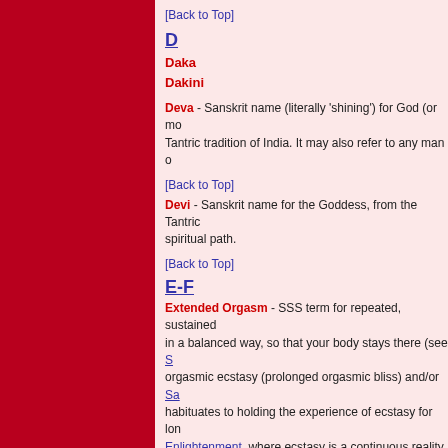[Back to Top]
D
Daka
Dakini
Deva - Sanskrit name (literally 'shining') for God (or mo... Tantric tradition of India. It may also refer to any man o...
[Back to Top]
Devi - Sanskrit name for the Goddess, from the Tantric... spiritual path.
[Back to Top]
E-F
Extended Orgasm - SSS term for repeated, sustained... in a balanced way, so that your body stays there (see S... orgasmic ecstasy (prolonged orgasmic bliss) and/or Sa... habituates to holding the experience of ecstasy for lon... Enlightenment, where ecstasy is a continuous reality.
[Back to Top]